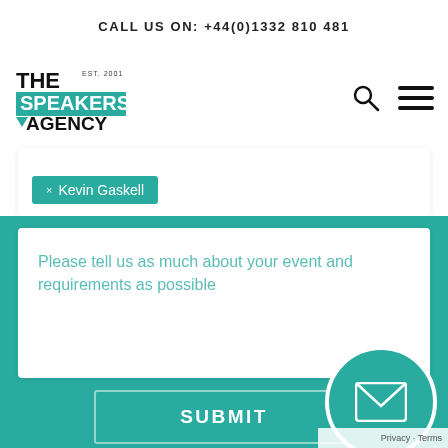CALL US ON: +44(0)1332 810 481
[Figure (logo): The Speakers Agency logo with teal background block and 'EST. 2001' text]
Kevin Gaskell
Please tell us as much about your event and requirements as possible
SUBMIT
Privacy · Terms